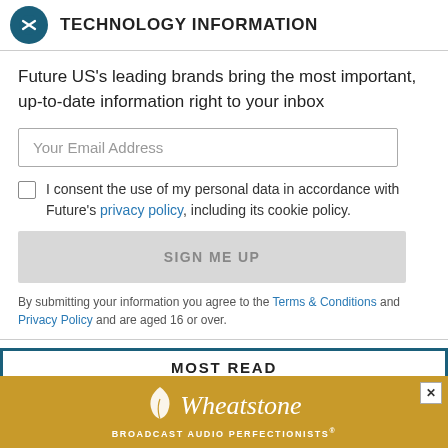TECHNOLOGY INFORMATION
Future US's leading brands bring the most important, up-to-date information right to your inbox
Your Email Address
I consent the use of my personal data in accordance with Future's privacy policy, including its cookie policy.
SIGN ME UP
By submitting your information you agree to the Terms & Conditions and Privacy Policy and are aged 16 or over.
MOST READ
[Figure (logo): Wheatstone Broadcast Audio Perfectionists advertisement banner with golden background and leaf logo]